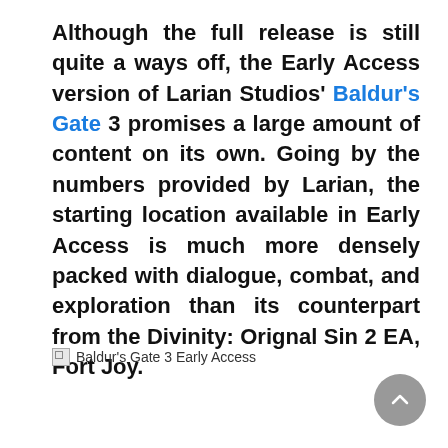Although the full release is still quite a ways off, the Early Access version of Larian Studios' Baldur's Gate 3 promises a large amount of content on its own. Going by the numbers provided by Larian, the starting location available in Early Access is much more densely packed with dialogue, combat, and exploration than its counterpart from the Divinity: Orignal Sin 2 EA, Fort Joy.
Baldur's Gate 3 Early Access